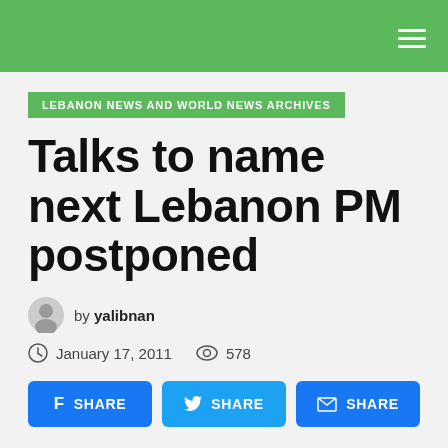LEBANON NEWS AND WORLD NEWS ARCHIVES
Talks to name next Lebanon PM postponed
by yalibnan
January 17, 2011   578